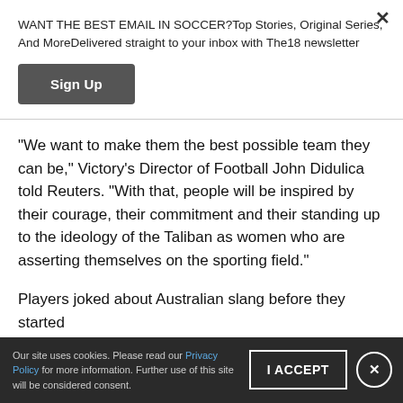WANT THE BEST EMAIL IN SOCCER?Top Stories, Original Series, And MoreDelivered straight to your inbox with The18 newsletter
Sign Up
"We want to make them the best possible team they can be," Victory's Director of Football John Didulica told Reuters. "With that, people will be inspired by their courage, their commitment and their standing up to the ideology of the Taliban as women who are asserting themselves on the sporting field."
Players joked about Australian slang before they started
Our site uses cookies. Please read our Privacy Policy for more information. Further use of this site will be considered consent.
I ACCEPT